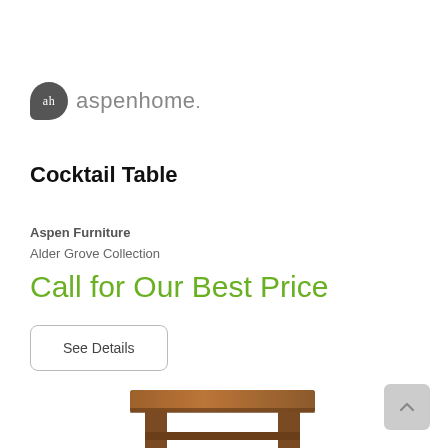[Figure (logo): aspenhome logo with dark rounded badge showing 'ah' and gray text 'aspenhome.']
Cocktail Table
Aspen Furniture
Alder Grove Collection
Call for Our Best Price
See Details
[Figure (photo): Partial photo of a wooden cocktail table with dark brown finish, showing table top and upper legs]